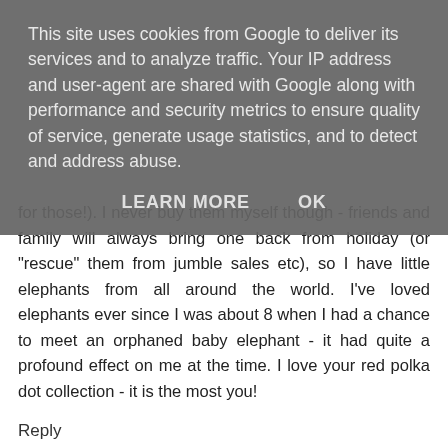This site uses cookies from Google to deliver its services and to analyze traffic. Your IP address and user-agent are shared with Google along with performance and security metrics to ensure quality of service, generate usage statistics, and to detect and address abuse.
LEARN MORE   OK
for those!). I never buy them myself though - friends and family will always bring one back from holiday (or "rescue" them from jumble sales etc), so I have little elephants from all around the world. I've loved elephants ever since I was about 8 when I had a chance to meet an orphaned baby elephant - it had quite a profound effect on me at the time. I love your red polka dot collection - it is the most you!
Reply
▾ Replies
Jane 11 October 2013 at 07:54
I must have known that fact about you and elephants Shivani because every time I see one I